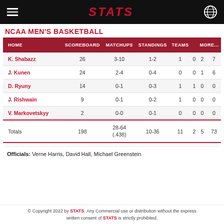STATS
NCAA MEN'S BASKETBALL
| HOME | SCOREBOARD | MATCHUPS | STANDINGS | TEAMS |  | MORE... |
| --- | --- | --- | --- | --- | --- | --- |
| K. Shabazz | 26 | 3-10 | 1-2 | 1 | 0 | 2 | 7 |
| J. Kunen | 24 | 2-4 | 0-4 | 0 | 0 | 1 | 6 |
| D. Ryuny | 14 | 0-1 | 0-3 | 1 | 1 | 0 | 0 |
| J. Rishwain | 9 | 0-1 | 0-2 | 1 | 0 | 0 | 0 |
| V. Markovetskyy | 2 | 0-0 | 0-1 | 0 | 0 | 0 | 0 |
| Totals | 198 | 28-64 (.438) | 10-36 | 11 | 2 | 5 | 73 |
Officials: Verne Harris, David Hall, Michael Greenstein
© Copyright 2022 by STATS. Any Commercial use or distribution without the express written consent of STATS is strictly prohibited.